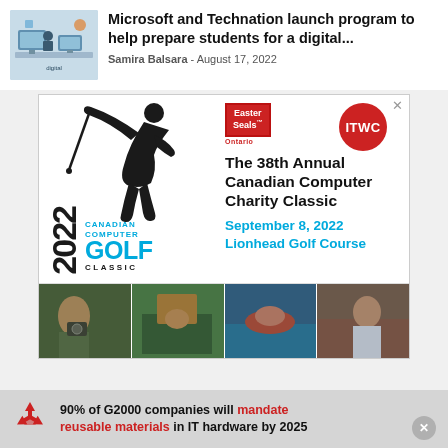[Figure (illustration): Thumbnail illustration of digital/technology scene with figures and screens]
Microsoft and Technation launch program to help prepare students for a digital...
Samira Balsara - August 17, 2022
[Figure (infographic): Advertisement for The 38th Annual Canadian Computer Charity Classic golf event, September 8, 2022, Lionhead Golf Course. Features Easter Seals Ontario and ITWC logos, golfer silhouette, 2022 Canadian Computer Golf Classic branding, and four photos at bottom.]
90% of G2000 companies will mandate reusable materials in IT hardware by 2025